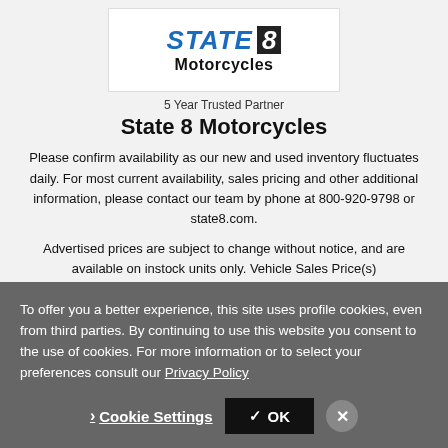[Figure (logo): State 8 Motorcycles logo with blue stylized text and dark badge]
5 Year Trusted Partner
State 8 Motorcycles
Please confirm availability as our new and used inventory fluctuates daily. For most current availability, sales pricing and other additional information, please contact our team by phone at 800-920-9798 or state8.com.
Advertised prices are subject to change without notice, and are available on instock units only. Vehicle Sales Price(s)
To offer you a better experience, this site uses profile cookies, even from third parties. By continuing to use this website you consent to the use of cookies. For more information or to select your preferences consult our Privacy Policy